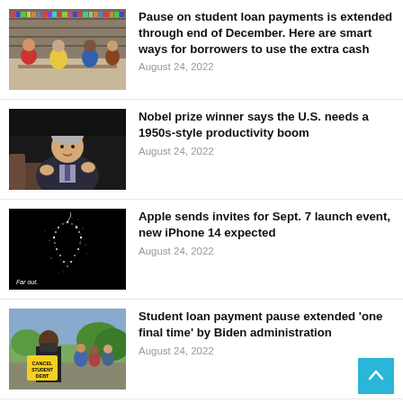[Figure (photo): Students studying in a library, group around a table with bookshelves in background]
Pause on student loan payments is extended through end of December. Here are smart ways for borrowers to use the extra cash
August 24, 2022
[Figure (photo): Older man in dark suit gesturing while speaking, seated in chair on dark background]
Nobel prize winner says the U.S. needs a 1950s-style productivity boom
August 24, 2022
[Figure (photo): Apple logo made of stars/sparkles on black background with text 'Far out.']
Apple sends invites for Sept. 7 launch event, new iPhone 14 expected
August 24, 2022
[Figure (photo): Person holding protest sign reading CANCEL STUDENT DEBT in outdoor setting]
Student loan payment pause extended 'one final time' by Biden administration
August 24, 2022